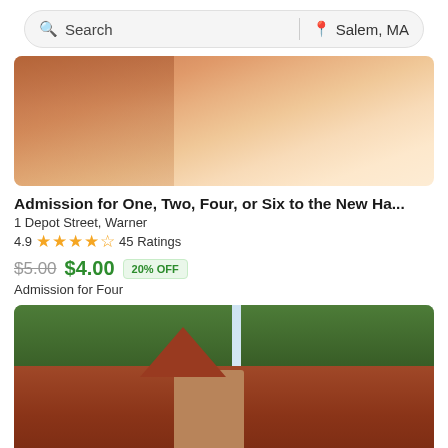[Figure (screenshot): Search bar with search icon and text 'Search' on the left, a divider, and a location pin icon with 'Salem, MA' on the right]
[Figure (photo): Interior photo showing wooden plank floor and antique items/barrels on the left side]
Admission for One, Two, Four, or Six to the New Ha...
1 Depot Street, Warner
4.9 ★★★★½ 45 Ratings
$5.00 $4.00 20% OFF
Admission for Four
[Figure (photo): Exterior photo of a building with a conical tower/turret with terracotta roof tiles, surrounded by green trees and a partly cloudy sky]